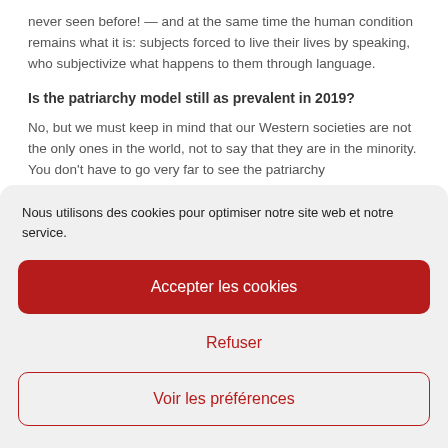never seen before! — and at the same time the human condition remains what it is: subjects forced to live their lives by speaking, who subjectivize what happens to them through language.
Is the patriarchy model still as prevalent in 2019?
No, but we must keep in mind that our Western societies are not the only ones in the world, not to say that they are in the minority. You don't have to go very far to see the patriarchy
Nous utilisons des cookies pour optimiser notre site web et notre service.
Accepter les cookies
Refuser
Voir les préférences